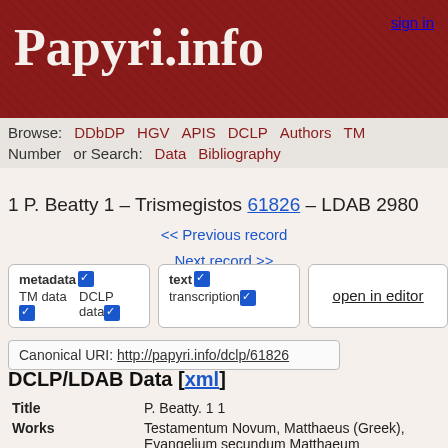Papyri.info
sign in
Browse: DDbDP HGV APIS DCLP Authors TM
Number or Search: Data Bibliography
1 P. Beatty 1 – Trismegistos 61826 – LDAB 2980
<< Previous record
Next record >>
metadata ✓  TM data ✓  DCLP data ✓  text ✓  transcription ✓  open in editor
Canonical URI: http://papyri.info/dclp/61826
DCLP/LDAB Data [xml]
| Field | Value |
| --- | --- |
| Title | P. Beatty. 1 1 |
| Works | Testamentum Novum, Matthaeus (Greek), Evangelium secundum Matthaeum
Testamentum Novum, Marcus (Greek), Evangelium secundum Marcum
Testamentum Novum, Lucas (Greek), Evangelium secundum Lucam
Testamentum Novum, Johannes (Greek), |